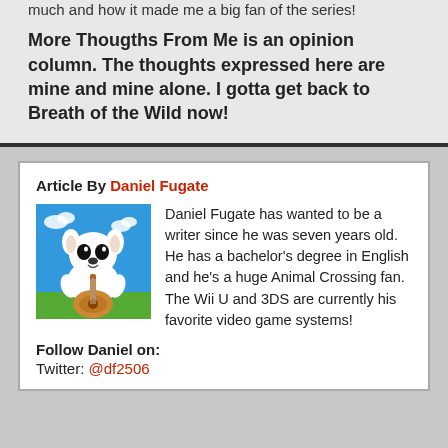much and how it made me a big fan of the series!
More Thougths From Me is an opinion column. The thoughts expressed here are mine and mine alone. I gotta get back to Breath of the Wild now!
Article By Daniel Fugate
[Figure (illustration): KK Slider (a cartoon dog character) playing guitar against a blue sky background]
Daniel Fugate has wanted to be a writer since he was seven years old. He has a bachelor's degree in English and he's a huge Animal Crossing fan. The Wii U and 3DS are currently his favorite video game systems!
Follow Daniel on:
Twitter: @df2506